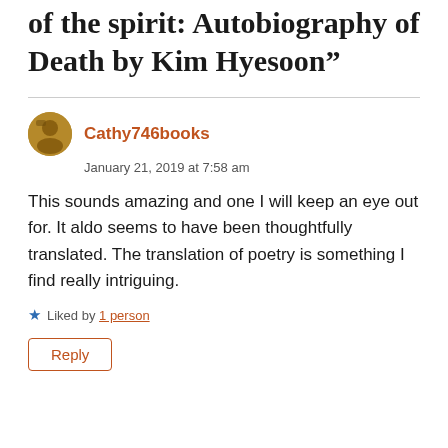of the spirit: Autobiography of Death by Kim Hyesoon”
Cathy746books
January 21, 2019 at 7:58 am
This sounds amazing and one I will keep an eye out for. It aldo seems to have been thoughtfully translated. The translation of poetry is something I find really intriguing.
Liked by 1 person
Reply